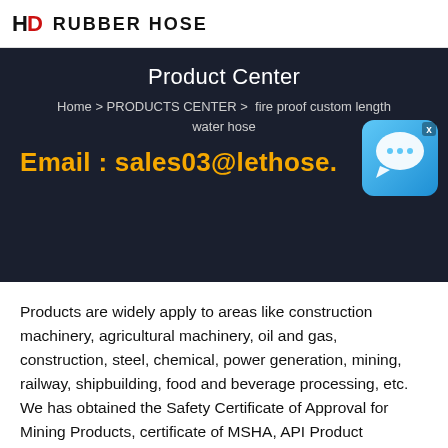HD RUBBER HOSE
Product Center
Home > PRODUCTS CENTER >  fire proof custom length water hose
Email : sales03@lethose.c
[Figure (illustration): Chat bubble / live chat icon overlay with close X button]
Products are widely apply to areas like construction machinery, agricultural machinery, oil and gas, construction, steel, chemical, power generation, mining, railway, shipbuilding, food and beverage processing, etc. We has obtained the Safety Certificate of Approval for Mining Products, certificate of MSHA, API Product Certification (API